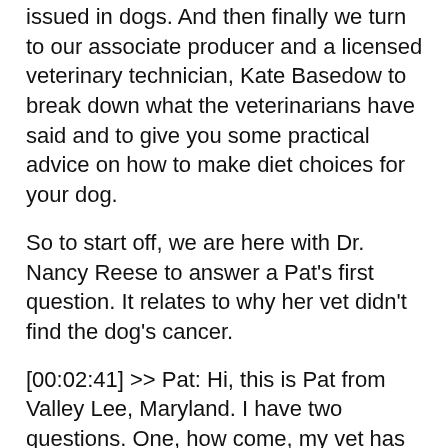issued in dogs. And then finally we turn to our associate producer and a licensed veterinary technician, Kate Basedow to break down what the veterinarians have said and to give you some practical advice on how to make diet choices for your dog.
So to start off, we are here with Dr. Nancy Reese to answer a Pat's first question. It relates to why her vet didn't find the dog's cancer.
[00:02:41] >> Pat: Hi, this is Pat from Valley Lee, Maryland. I have two questions. One, how come, my vet has not been able to determine that my dog had cancer and was dying in a short amount of time?
One of my dogs had her teeth cleaned and five days later, she died from hemangiosarcoma. And my other guy had a completely clean bill of health